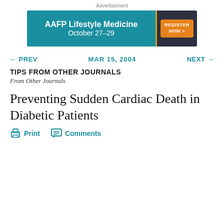Advertisement
[Figure (infographic): AAFP Lifestyle Medicine October 27–29 advertisement banner with teal background and orange Register Now button]
← PREV    MAR 15, 2004    NEXT →
TIPS FROM OTHER JOURNALS
From Other Journals
Preventing Sudden Cardiac Death in Diabetic Patients
Print    Comments